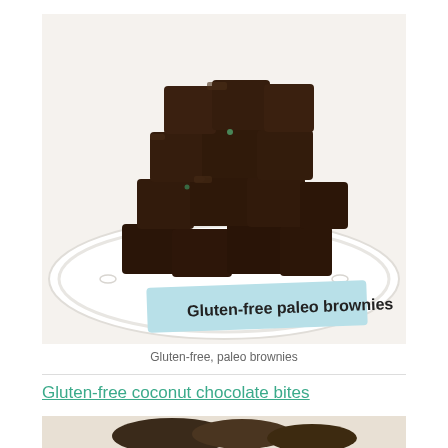[Figure (photo): A plate of dark chocolate brownie bites on a white paper plate, with a light blue label sign reading 'Gluten-free paleo brownies' in bold text in the foreground.]
Gluten-free, paleo brownies
Gluten-free coconut chocolate bites
[Figure (photo): Partial view of another food item at the bottom of the page.]